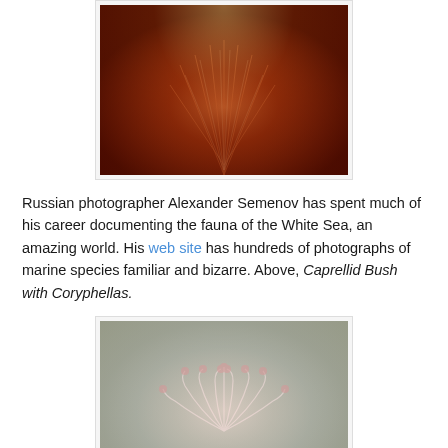[Figure (photo): Close-up photograph of Caprellid Bush with Coryphellas, showing reddish-pink feathery marine organism against a dark background]
Russian photographer Alexander Semenov has spent much of his career documenting the fauna of the White Sea, an amazing world. His web site has hundreds of photographs of marine species familiar and bizarre. Above, Caprellid Bush with Coryphellas.
[Figure (photo): Photograph of a translucent sea anemone with curling tentacles tipped with pink/orange spots, spreading out on a sandy seafloor]